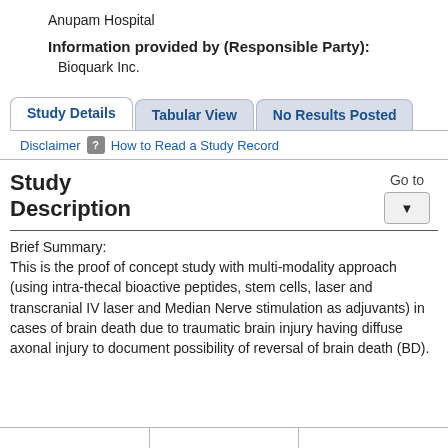Anupam Hospital
Information provided by (Responsible Party):
Bioquark Inc.
Study Details | Tabular View | No Results Posted
Disclaimer  ? How to Read a Study Record
Study Description
Go to
Brief Summary:
This is the proof of concept study with multi-modality approach (using intra-thecal bioactive peptides, stem cells, laser and transcranial IV laser and Median Nerve stimulation as adjuvants) in cases of brain death due to traumatic brain injury having diffuse axonal injury to document possibility of reversal of brain death (BD).